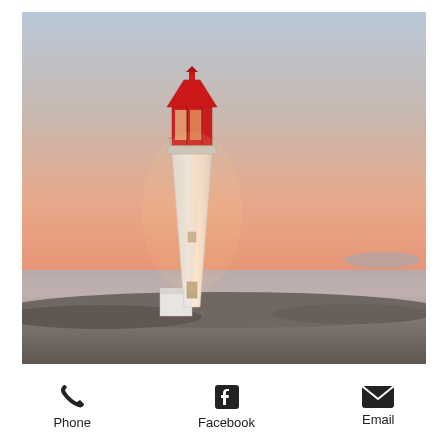[Figure (photo): Photograph of a white lighthouse with a red lantern room at sunset/dusk, situated on rocky ground near calm water. The sky is a gradient of soft blue at the top transitioning to warm peach and orange tones. The lighthouse tower is white and slightly tapered, with a red-topped light room and metal railing at the top.]
Phone
Facebook
Email